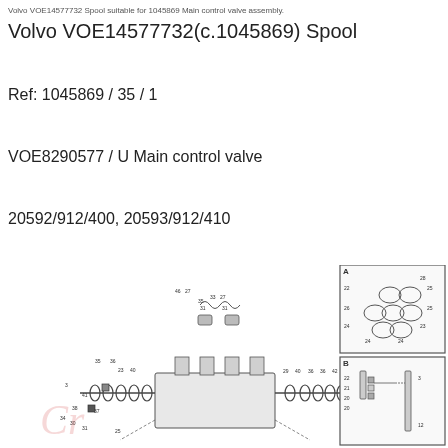Volvo VOE14577732 Spool suitable for 1045869 Main control valve assembly.
Volvo VOE14577732(c.1045869) Spool
Ref: 1045869 / 35 / 1
VOE8290577 / U Main control valve
20592/912/400, 20593/912/410
[Figure (engineering-diagram): Exploded/assembly engineering diagram of a main control valve spool assembly showing numbered parts (1–46+), with two detail insets labeled A and B showing seal ring arrangements and spool component details. A watermark 'Cr' is partially visible in the lower left.]